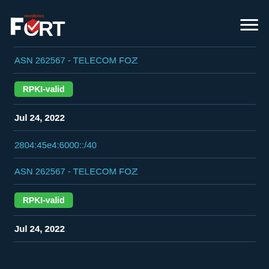[Figure (logo): Fort Monitoreo logo with checkmark]
ASN 262567 - TELECOM FOZ
RPKI-valid
Jul 24, 2022
2804:45e4:6000::/40
ASN 262567 - TELECOM FOZ
RPKI-valid
Jul 24, 2022